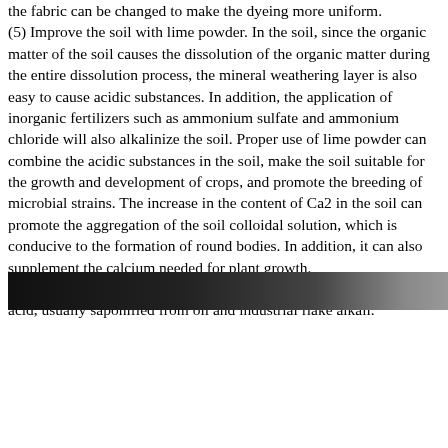the fabric can be changed to make the dyeing more uniform. (5) Improve the soil with lime powder. In the soil, since the organic matter of the soil causes the dissolution of the organic matter during the entire dissolution process, the mineral weathering layer is also easy to cause acidic substances. In addition, the application of inorganic fertilizers such as ammonium sulfate and ammonium chloride will also alkalinize the soil. Proper use of lime powder can combine the acidic substances in the soil, make the soil suitable for the growth and development of crops, and promote the breeding of microbial strains. The increase in the content of Ca2 in the soil can promote the aggregation of the soil colloidal solution, which is conducive to the formation of round bodies. In addition, it can also supplement the calcium needed for plant growth. (6) Make soap. Soap is mainly composed of acetate and high oleic acid, usually saponified from oil and industrial flake alkali.
[Figure (photo): A dark photographic image strip, mostly black with some gray tones, appearing at the bottom of the text content area.]